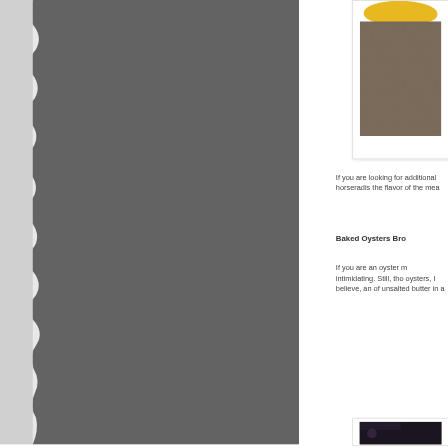[Figure (photo): Torn paper decorative element on left side, dark gray paper against light gray background]
[Figure (photo): Photo of a yellow fruit or vegetable on a brown carpet/textured surface, shown in a white frame]
If you are looking for additional horseradis the flavor of the mea
Baked Oysters Bro
If you are an oyster m intimidating. Still, tho oysters, I believe, an of unsalted butter in a
[Figure (photo): Dark photo at bottom, partially visible]